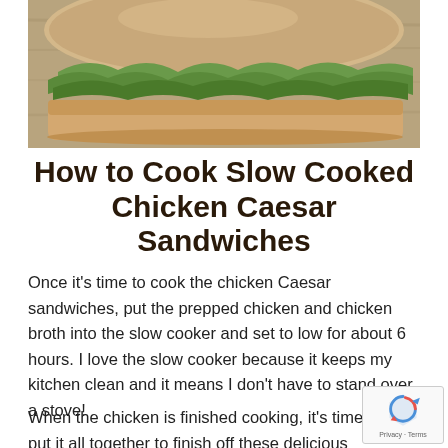[Figure (photo): Close-up photo of a chicken Caesar sandwich on a bun with green lettuce visible, placed on a wooden surface]
How to Cook Slow Cooked Chicken Caesar Sandwiches
Once it's time to cook the chicken Caesar sandwiches, put the prepped chicken and chicken broth into the slow cooker and set to low for about 6 hours. I love the slow cooker because it keeps my kitchen clean and it means I don't have to stand over a stove!
When the chicken is finished cooking, it's time to put it all together to finish off these delicious